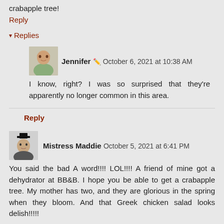crabapple tree!
Reply
▾ Replies
Jennifer 🖉 October 6, 2021 at 10:38 AM
I know, right? I was so surprised that they're apparently no longer common in this area.
Reply
Mistress Maddie  October 5, 2021 at 6:41 PM
You said the bad A word!!!! LOL!!!! A friend of mine got a dehydrator at BB&B. I hope you be able to get a crabapple tree. My mother has two, and they are glorious in the spring when they bloom. And that Greek chicken salad looks delish!!!!!
Reply